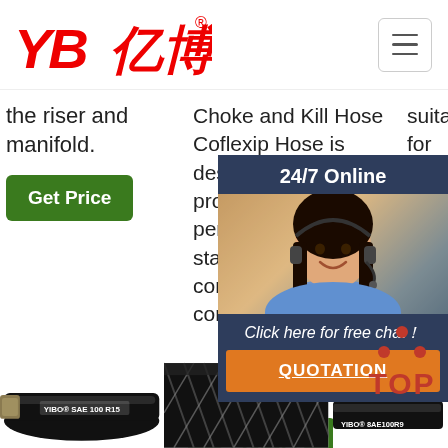[Figure (logo): YB亿博 logo in red italic bold text with registered trademark symbol]
the riser and manifold.
Choke and Kill Hose Coflexip Hose is designed and produced strictly as per API 16C standards.It is composed of inner core, double cross wireline layer, heat ...
suitable for H2S service. Couplings are plat resi App
[Figure (photo): 24/7 Online chat overlay with woman wearing headset on dark blue background, 'Click here for free chat!' text and orange QUOTATION button]
Get Price
Get Price
[Figure (photo): Black rubber hose product image labeled YIBO SAE100R1S]
[Figure (photo): Black braided hose product image close-up]
[Figure (other): TOP navigation button with red dots triangle and red TOP text]
[Figure (photo): Black rubber hose product image labeled YIBO SAE100R9 partial view]